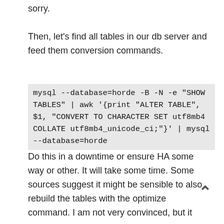sorry.
Then, let's find all tables in our db server and feed them conversion commands.
mysql --database=horde -B -N -e "SHOW TABLES" | awk '{print "ALTER TABLE", $1, "CONVERT TO CHARACTER SET utf8mb4 COLLATE utf8mb4_unicode_ci;"}' | mysql --database=horde
Do this in a downtime or ensure HA some way or other. It will take some time. Some sources suggest it might be sensible to also rebuild the tables with the optimize command. I am not very convinced, but it